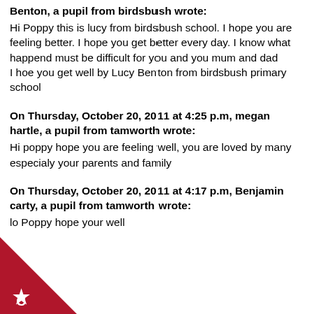Benton, a pupil from birdsbush wrote:
Hi Poppy this is lucy from birdsbush school. I hope you are feeling better. I hope you get better every day. I know what happend must be difficult for you and you mum and dad
I hoe you get well by Lucy Benton from birdsbush primary school
On Thursday, October 20, 2011 at 4:25 p.m, megan hartle, a pupil from tamworth wrote:
Hi poppy hope you are feeling well, you are loved by many especialy your parents and family
On Thursday, October 20, 2011 at 4:17 p.m, Benjamin carty, a pupil from tamworth wrote:
lo Poppy hope your well